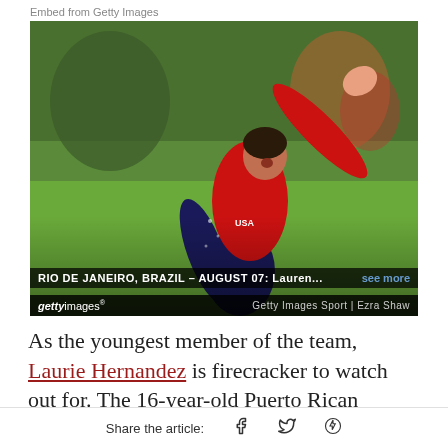Embed from Getty Images
[Figure (photo): Gymnast Laurie Hernandez in a red and navy USA leotard performing at the Rio de Janeiro 2016 Olympics, arm raised, mouth open in expression. Getty Images Sport | Ezra Shaw. Caption bar: RIO DE JANEIRO, BRAZIL - AUGUST 07: Lauren... see more]
As the youngest member of the team, Laurie Hernandez is firecracker to watch out for. The 16-year-old Puerto Rican American has shined thus far
Share the article: